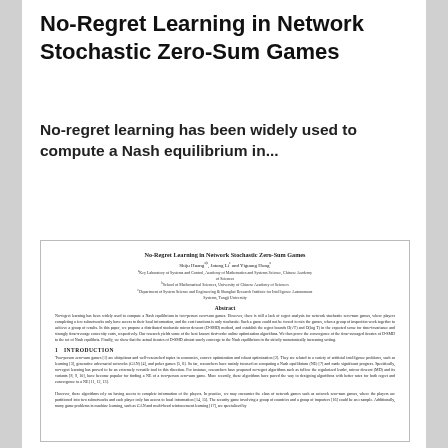No-Regret Learning in Network Stochastic Zero-Sum Games
No-regret learning has been widely used to compute a Nash equilibrium in...
[Figure (other): Thumbnail preview of the paper 'No-Regret Learning in Network Stochastic Zero-Sum Games' showing the paper title, authors, affiliations, abstract, and beginning of introduction section.]